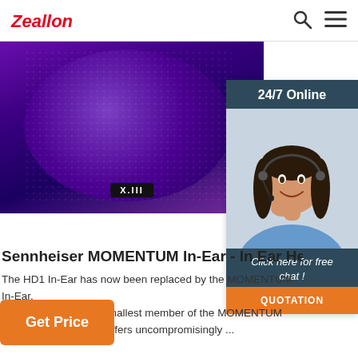Zeallon
[Figure (photo): Purple speaker with dome shape and mesh texture, lit with purple/magenta lighting. Brand label visible at bottom.]
[Figure (infographic): Live chat widget. Header: '24/7 Online'. Photo of female customer service agent wearing headset, smiling. Text: 'Click here for free chat!' with orange QUOTATION button.]
Sennheiser MOMENTUM In-Ear - In Ear Heac
The HD1 In-Ear has now been replaced by the MOMENTUM In-Ear. This earphone is the smallest member of the MOMENTUM product family. Still, it offers uncompromisingly ...
Get Price